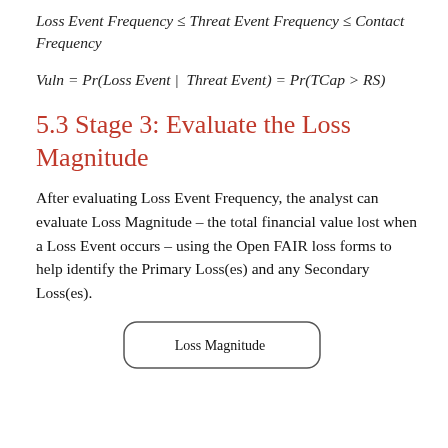5.3 Stage 3: Evaluate the Loss Magnitude
After evaluating Loss Event Frequency, the analyst can evaluate Loss Magnitude – the total financial value lost when a Loss Event occurs – using the Open FAIR loss forms to help identify the Primary Loss(es) and any Secondary Loss(es).
[Figure (other): Rounded rectangle box labeled 'Loss Magnitude']